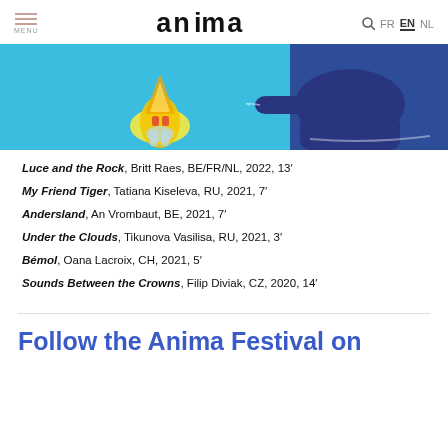MENU | aNiMa | FR EN NL
[Figure (illustration): Animated festival image showing a light/fire element and a dark blue hand or figure on a cyan/blue background.]
Luce and the Rock, Britt Raes, BE/FR/NL, 2022, 13'
My Friend Tiger, Tatiana Kiseleva, RU, 2021, 7'
Andersland, An Vrombaut, BE, 2021, 7'
Under the Clouds, Tikunova Vasilisa, RU, 2021, 3'
Bémol, Oana Lacroix, CH, 2021, 5'
Sounds Between the Crowns, Filip Diviak, CZ, 2020, 14'
Follow the Anima Festival on